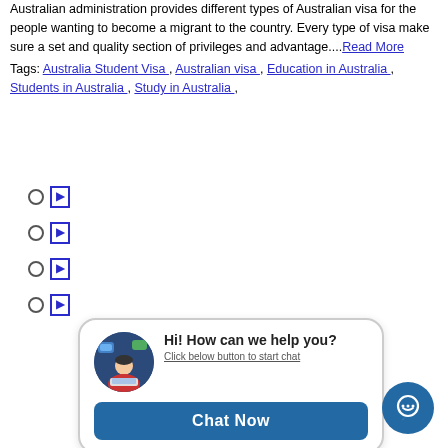Australian administration provides different types of Australian visa for the people wanting to become a migrant to the country. Every type of visa make sure a set and quality section of privileges and advantage....Read More
Tags: Australia Student Visa , Australian visa , Education in Australia , Students in Australia , Study in Australia ,
[Figure (screenshot): Live chat widget with avatar of person at laptop, text 'Hi! How can we help you?', subtitle 'Click below button to start chat', and a blue 'Chat Now' button]